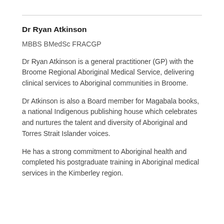Dr Ryan Atkinson
MBBS BMedSc FRACGP
Dr Ryan Atkinson is a general practitioner (GP) with the Broome Regional Aboriginal Medical Service, delivering clinical services to Aboriginal communities in Broome.
Dr Atkinson is also a Board member for Magabala books, a national Indigenous publishing house which celebrates and nurtures the talent and diversity of Aboriginal and Torres Strait Islander voices.
He has a strong commitment to Aboriginal health and completed his postgraduate training in Aboriginal medical services in the Kimberley region.